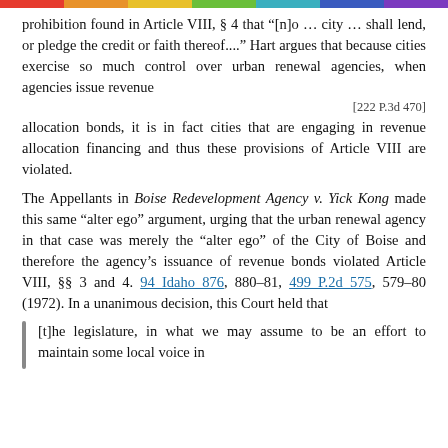prohibition found in Article VIII, § 4 that "[n]o ... city ... shall lend, or pledge the credit or faith thereof...." Hart argues that because cities exercise so much control over urban renewal agencies, when agencies issue revenue
[222 P.3d 470]
allocation bonds, it is in fact cities that are engaging in revenue allocation financing and thus these provisions of Article VIII are violated.
The Appellants in Boise Redevelopment Agency v. Yick Kong made this same "alter ego" argument, urging that the urban renewal agency in that case was merely the "alter ego" of the City of Boise and therefore the agency's issuance of revenue bonds violated Article VIII, §§ 3 and 4. 94 Idaho 876, 880-81, 499 P.2d 575, 579-80 (1972). In a unanimous decision, this Court held that
[t]he legislature, in what we may assume to be an effort to maintain some local voice in